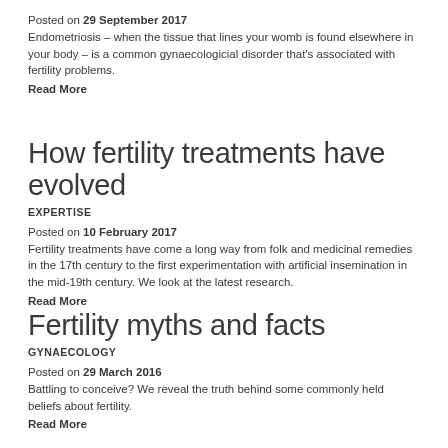Posted on 29 September 2017
Endometriosis – when the tissue that lines your womb is found elsewhere in your body – is a common gynaecologicial disorder that's associated with fertility problems.
Read More
How fertility treatments have evolved
EXPERTISE
Posted on 10 February 2017
Fertility treatments have come a long way from folk and medicinal remedies in the 17th century to the first experimentation with artificial insemination in the mid-19th century. We look at the latest research.
Read More
Fertility myths and facts
GYNAECOLOGY
Posted on 29 March 2016
Battling to conceive? We reveal the truth behind some commonly held beliefs about fertility.
Read More